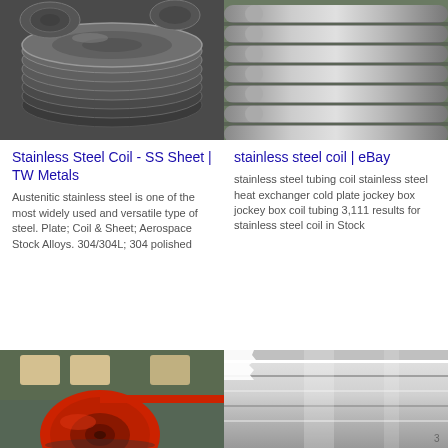[Figure (photo): Two photos side by side: left shows stainless steel circular discs/blanks stacked, right shows multiple stainless steel round bars/rods lined up]
Stainless Steel Coil - SS Sheet | TW Metals
Austenitic stainless steel is one of the most widely used and versatile type of steel. Plate; Coil & Sheet; Aerospace Stock Alloys. 304/304L; 304 polished
stainless steel coil | eBay
stainless steel tubing coil stainless steel heat exchanger cold plate jockey box jockey box coil tubing 3,111 results for stainless steel coil in Stock
[Figure (photo): Two photos side by side: left shows a red-painted steel coil on industrial machinery, right shows stainless steel sheet/plate material]